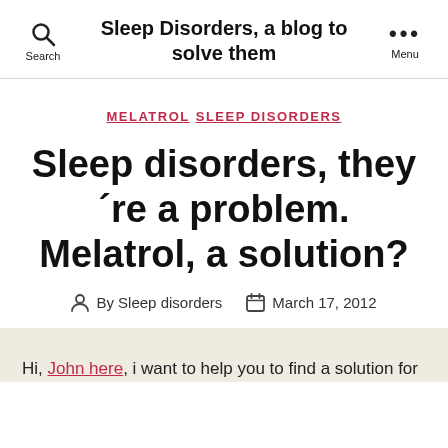Sleep Disorders, a blog to solve them
MELATROL  SLEEP DISORDERS
Sleep disorders, they´re a problem. Melatrol, a solution?
By Sleep disorders  March 17, 2012
Hi, John here, i want to help you to find a solution for